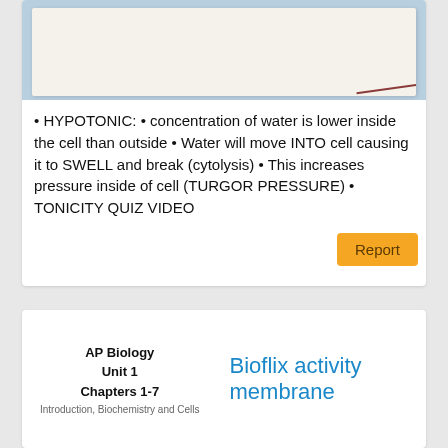[Figure (photo): Photograph of a white/cream colored paper or membrane on a light blue background, with a thin reddish-brown string or thread visible at the right edge.]
• HYPOTONIC: • concentration of water is lower inside the cell than outside • Water will move INTO cell causing it to SWELL and break (cytolysis) • This increases pressure inside of cell (TURGOR PRESSURE) • TONICITY QUIZ VIDEO
Report
AP Biology
Unit 1
Chapters 1-7
Introduction, Biochemistry and Cells
Bioflix activity membrane